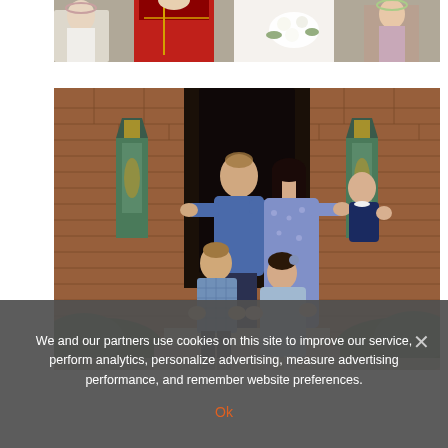[Figure (photo): Top portion of a wedding photo showing people in formal attire including a red military uniform and white wedding dress with floral bouquet, with children in white and flower crowns]
[Figure (photo): Family photo of Prince William and Catherine, Princess of Wales, with their three children George, Charlotte, and Louis, standing at the entrance of a brick building with lanterns, all waving or clapping]
We and our partners use cookies on this site to improve our service, perform analytics, personalize advertising, measure advertising performance, and remember website preferences.
Ok